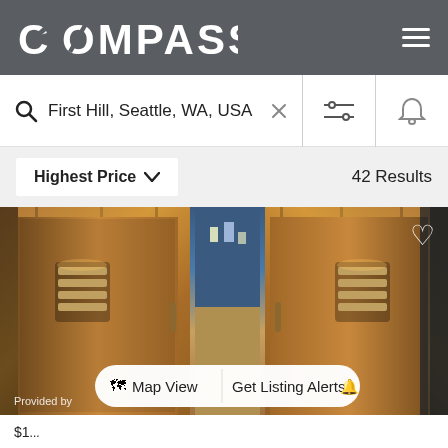COMPASS
First Hill, Seattle, WA, USA
Highest Price  42 Results
[Figure (photo): Interior hallway with copper-toned wood panel walls and decorative cylindrical wall sconces. A door is open in the center revealing a city view beyond. A heart/favorite icon is in the top right corner. Map View and Get Listing Alerts buttons overlay the bottom of the image.]
Provided by